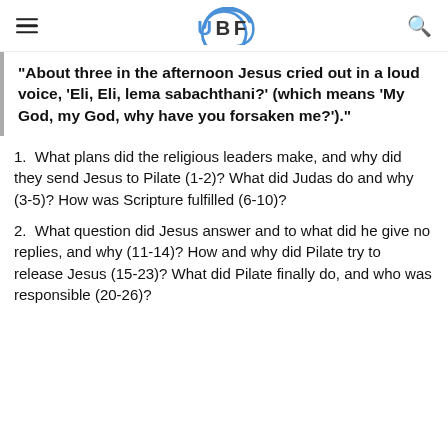UBF
"About three in the afternoon Jesus cried out in a loud voice, 'Eli, Eli, lema sabachthani?' (which means 'My God, my God, why have you forsaken me?')."
1.  What plans did the religious leaders make, and why did they send Jesus to Pilate (1-2)? What did Judas do and why (3-5)? How was Scripture fulfilled (6-10)?
2.  What question did Jesus answer and to what did he give no replies, and why (11-14)? How and why did Pilate try to release Jesus (15-23)? What did Pilate finally do, and who was responsible (20-26)?